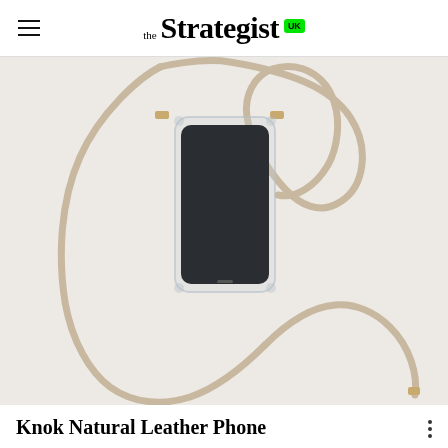the Strategist UK
[Figure (photo): Phone case with beige natural leather lanyard/crossbody strap, shown against a light grey/white background. The clear case holds a smartphone and the cord loops around it decoratively.]
Knok Natural Leather Phone